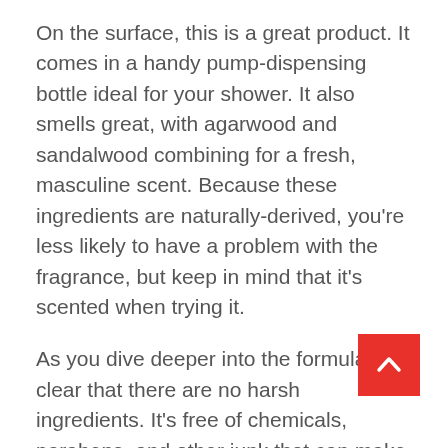On the surface, this is a great product. It comes in a handy pump-dispensing bottle ideal for your shower. It also smells great, with agarwood and sandalwood combining for a fresh, masculine scent. Because these ingredients are naturally-derived, you're less likely to have a problem with the fragrance, but keep in mind that it's scented when trying it.
As you dive deeper into the formula, it's clear that there are no harsh ingredients. It's free of chemicals, parabens, and other junk that can make your dry skin worse. Instead, it relies on green tea extract, passionflower fruit, deep-sea algae, and willow bark extract. Each is a well-known moisturizing product that will help to boost your skin's protective barrier and prevent future problems.
Why You Need Body Wash Made for